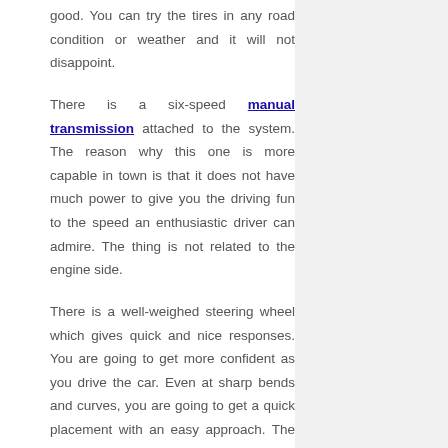good. You can try the tires in any road condition or weather and it will not disappoint.
There is a six-speed manual transmission attached to the system. The reason why this one is more capable in town is that it does not have much power to give you the driving fun to the speed an enthusiastic driver can admire. The thing is not related to the engine side.
There is a well-weighed steering wheel which gives quick and nice responses. You are going to get more confident as you drive the car. Even at sharp bends and curves, you are going to get a quick placement with an easy approach. The suspension works well for the steering wheel and the comfort of the cabin also.